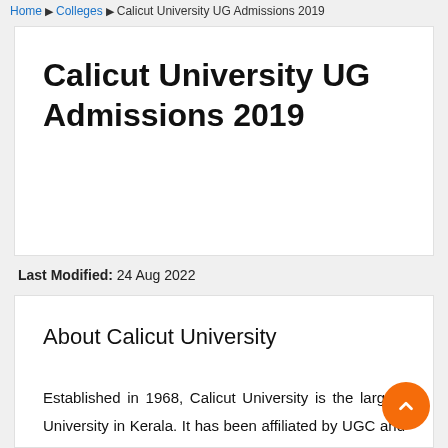Home ▶ Colleges ▶ Calicut University UG Admissions 2019
Calicut University UG Admissions 2019
Last Modified: 24 Aug 2022
About Calicut University
Established in 1968, Calicut University is the largest University in Kerala. It has been affiliated by UGC and is located at Malappuram district of Kerala. T